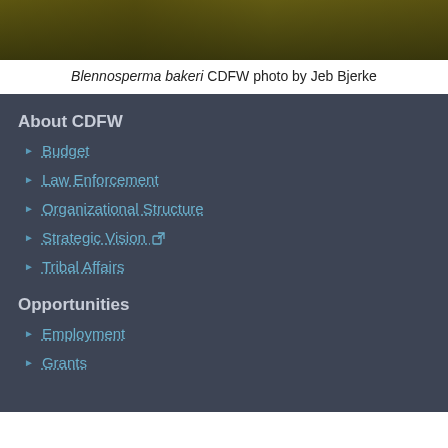[Figure (photo): Partial view of a plant photo, cropped at top — Blennosperma bakeri, CDFW photo by Jeb Bjerke]
Blennosperma bakeri CDFW photo by Jeb Bjerke
About CDFW
Budget
Law Enforcement
Organizational Structure
Strategic Vision
Tribal Affairs
Opportunities
Employment
Grants